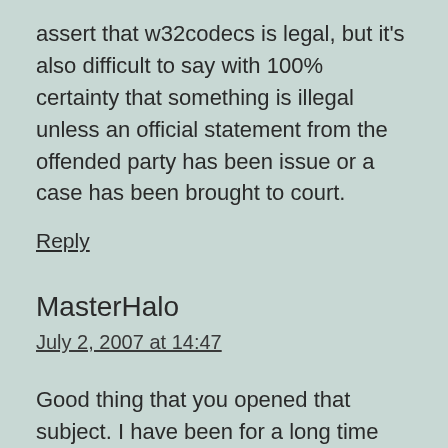assert that w32codecs is legal, but it's also difficult to say with 100% certainty that something is illegal unless an official statement from the offended party has been issue or a case has been brought to court.
Reply
MasterHalo
July 2, 2007 at 14:47
Good thing that you opened that subject. I have been for a long time wondering wether it